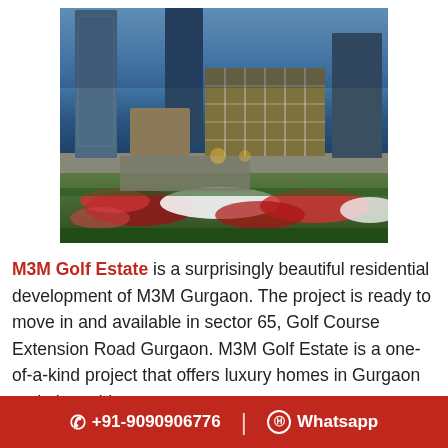[Figure (photo): Luxury residential complex M3M Golf Estate at dusk/night showing tall apartment towers, an illuminated glass-facade building, and ornate landscaped gardens with colorful floral patterns in red, white, and pink against green grass.]
M3M Golf Estate is a surprisingly beautiful residential development of M3M Gurgaon. The project is ready to move in and available in sector 65, Golf Course Extension Road Gurgaon. M3M Golf Estate is a one-of-a-kind project that offers luxury homes in Gurgaon and also adds a
✆ +91-9090906776 | © Whatsapp